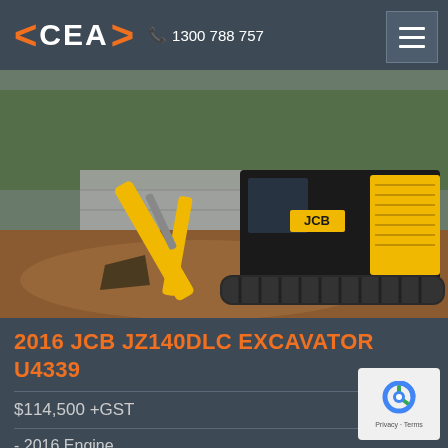CEA   1300 788 757
[Figure (photo): A JCB JZ140DLC excavator with yellow and black color scheme working on a construction site with red/brown dirt ground, concrete wall in background, trees visible]
2016 JCB JZ140DLC EXCAVATOR U4339
$114,500 +GST
- 2016 Engine